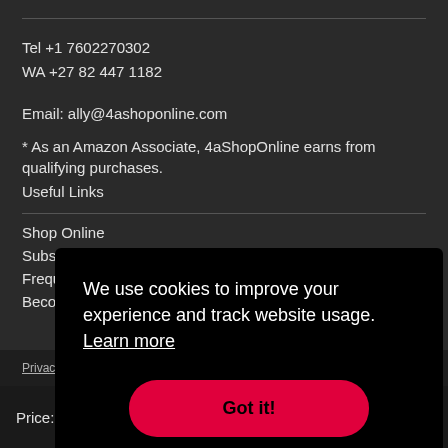Tel +1 7602270302
WA +27 82 447 1182
Email: ally@4ashoponline.com
* As an Amazon Associate, 4aShopOnline earns from qualifying purchases.
Useful Links
Shop Online
Subsc
Frequ
Beco
[Figure (screenshot): Cookie consent overlay popup with text 'We use cookies to improve your experience and track website usage. Learn more' and a red 'Got it!' button]
Privacy Policy   Refund Policy   Shipping Policy
Price: $34.00
VIEW ON AMAZON